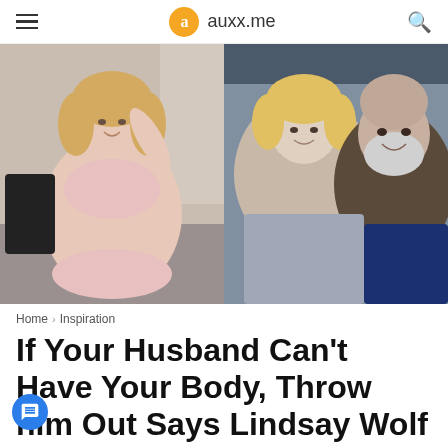auxx.me
[Figure (photo): Two photos side by side: left shows a blonde woman in pink lingerie posing in a bedroom; right shows a blonde woman and a bearded man taking a selfie in a car.]
Home › Inspiration
If Your Husband Can't Have Your Body, Throw him Out Says Lindsay Wolf